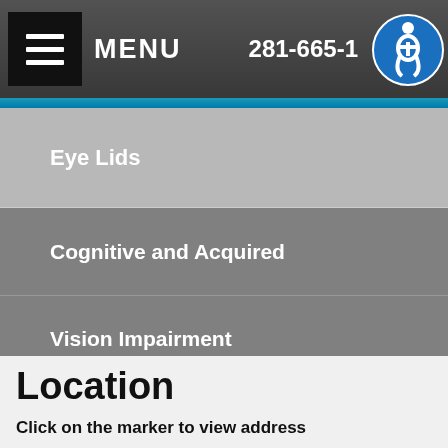MENU   281-665-1
Eye Lids
Cognitive and Acquired
Vision Impairment
Injury & Irritation
Changes in Appearance
Location
Click on the marker to view address